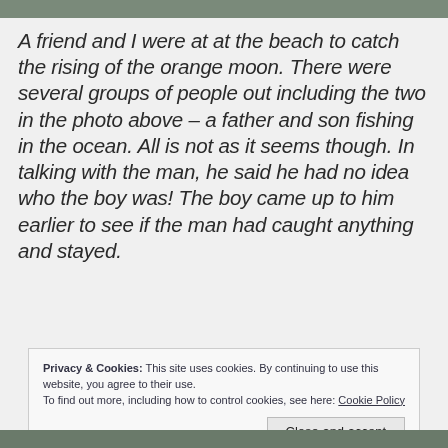[Figure (photo): Top strip of a photo, partially visible at the top of the page]
A friend and I were at at the beach to catch the rising of the orange moon. There were several groups of people out including the two in the photo above – a father and son fishing in the ocean. All is not as it seems though. In talking with the man, he said he had no idea who the boy was! The boy came up to him earlier to see if the man had caught anything and stayed.
Privacy & Cookies: This site uses cookies. By continuing to use this website, you agree to their use.
To find out more, including how to control cookies, see here: Cookie Policy
[Figure (photo): Bottom strip of a photo, partially visible at the bottom of the page]